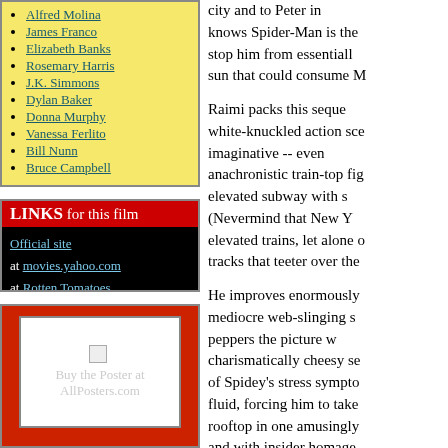Alfred Molina, James Franco, Elizabeth Banks, Rosemary Harris, J.K. Simmons, Dylan Baker, Donna Murphy, Vanessa Ferlito, Bill Nunn, Bruce Campbell
LINKS for this film
Official site | at movies.yahoo.com | at Rotten Tomatoes | at Internet Movie Database | Watch the trailer (apple.com)
[Figure (other): Buy the Poster at AllPosters.com — broken image placeholder in red box]
city and to Peter in knows Spider-Man is the stop him from essentially sun that could consume M

Raimi packs this sequel white-knuckled action scenes imaginative -- even anachronistic train-top fight elevated subway with s (Nevermind that New Y elevated trains, let alone o tracks that teeter over the

He improves enormously mediocre web-slinging s peppers the picture w charismatically cheesy se of Spidey's stress symptoms fluid, forcing him to take rooftop in one amusingly and with insider homage beginnings.

Raimi also shows great book lore while having a